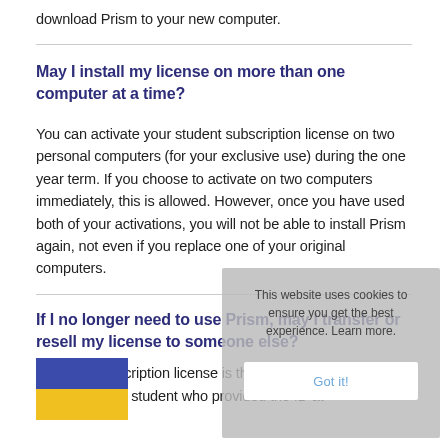download Prism to your new computer.
May I install my license on more than one computer at a time?
You can activate your student subscription license on two personal computers (for your exclusive use) during the one year term. If you choose to activate on two computers immediately, this is allowed. However, once you have used both of your activations, you will not be able to install Prism again, not even if you replace one of your original computers.
If I no longer need to use Prism, may I transfer or resell my license to someone else?
. student subscription license is the exclusive personal property of the student who provided the ID at